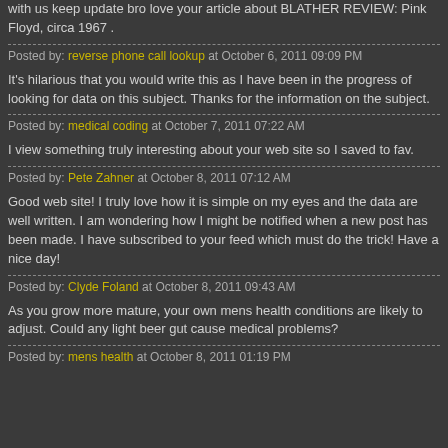with us keep update bro love your article about BLATHER REVIEW: Pink Floyd, circa 1967 .
Posted by: reverse phone call lookup at October 6, 2011 09:09 PM
It's hilarious that you would write this as I have been in the progress of looking for data on this subject. Thanks for the information on the subject.
Posted by: medical coding at October 7, 2011 07:22 AM
I view something truly interesting about your web site so I saved to fav.
Posted by: Pete Zahner at October 8, 2011 07:12 AM
Good web site! I truly love how it is simple on my eyes and the data are well written. I am wondering how I might be notified when a new post has been made. I have subscribed to your feed which must do the trick! Have a nice day!
Posted by: Clyde Foland at October 8, 2011 09:43 AM
As you grow more mature, your own mens health conditions are likely to adjust. Could any light beer gut cause medical problems?
Posted by: mens health at October 8, 2011 01:19 PM